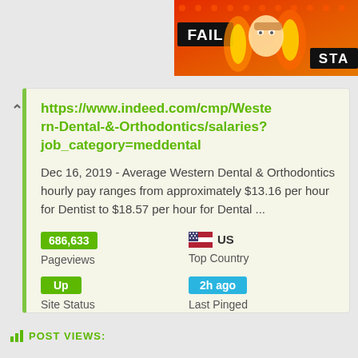[Figure (screenshot): Ad banner with FAIL text and STA text visible, colorful illustration]
https://www.indeed.com/cmp/Western-Dental-&-Orthodontics/salaries?job_category=meddental
Dec 16, 2019 - Average Western Dental & Orthodontics hourly pay ranges from approximately $13.16 per hour for Dentist to $18.57 per hour for Dental ...
686,633
Pageviews
US
Top Country
Up
Site Status
2h ago
Last Pinged
POST VIEWS: